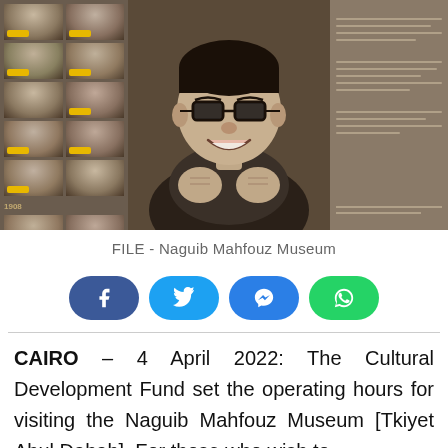[Figure (photo): Museum exhibit photo showing wall of black-and-white portrait photographs with yellow caption tags, a large central black-and-white photo of a smiling man with glasses (Naguib Mahfouz), and a text panel on the right side. Set in the Naguib Mahfouz Museum.]
FILE - Naguib Mahfouz Museum
[Figure (infographic): Social media sharing buttons: Facebook (dark blue), Twitter (light blue), Messenger (blue), WhatsApp (green)]
CAIRO – 4 April 2022: The Cultural Development Fund set the operating hours for visiting the Naguib Mahfouz Museum [Tkiyet Abul Dahab]. For those who wish to